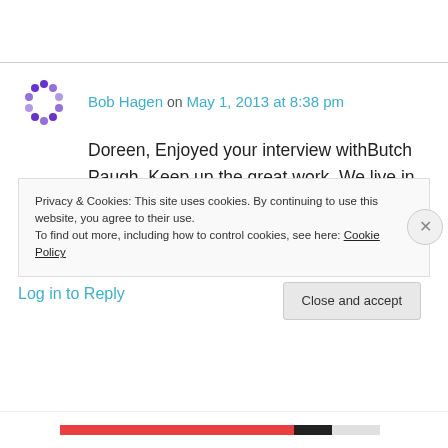Bob Hagen on May 1, 2013 at 8:38 pm
Doreen, Enjoyed your interview withButch Paugh. Keep up the great work. We live in North Dakota and see how important Farmers are. Bless you, Bob and Terry Hagen
Log in to Reply
Privacy & Cookies: This site uses cookies. By continuing to use this website, you agree to their use.
To find out more, including how to control cookies, see here: Cookie Policy